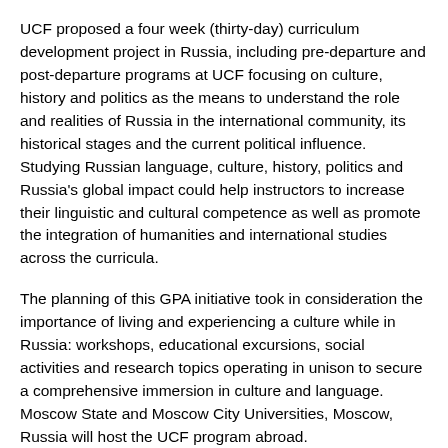UCF proposed a four week (thirty-day) curriculum development project in Russia, including pre-departure and post-departure programs at UCF focusing on culture, history and politics as the means to understand the role and realities of Russia in the international community, its historical stages and the current political influence. Studying Russian language, culture, history, politics and Russia's global impact could help instructors to increase their linguistic and cultural competence as well as promote the integration of humanities and international studies across the curricula.
The planning of this GPA initiative took in consideration the importance of living and experiencing a culture while in Russia: workshops, educational excursions, social activities and research topics operating in unison to secure a comprehensive immersion in culture and language. Moscow State and Moscow City Universities, Moscow, Russia will host the UCF program abroad.
“This opportunity will generate interest and more understanding on the culture, people and language of